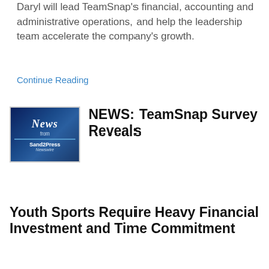Daryl will lead TeamSnap's financial, accounting and administrative operations, and help the leadership team accelerate the company's growth.
Continue Reading
[Figure (photo): News from Sand2Press Newswire logo image with dark blue background]
NEWS: TeamSnap Survey Reveals Youth Sports Require Heavy Financial Investment and Time Commitment